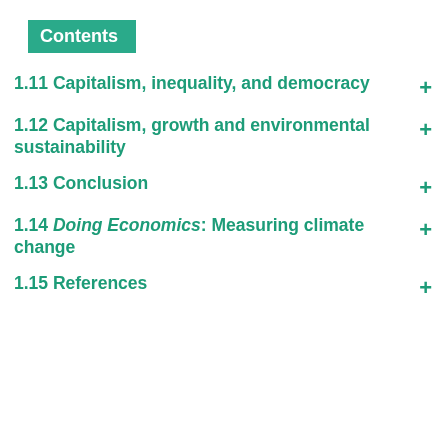Contents
1.11 Capitalism, inequality, and democracy +
1.12 Capitalism, growth and environmental sustainability +
1.13 Conclusion +
1.14 Doing Economics: Measuring climate change +
1.15 References +